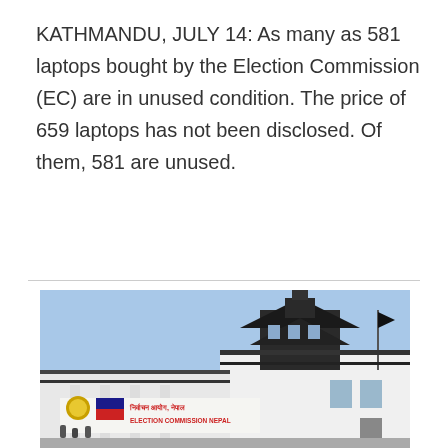KATHMANDU, JULY 14: As many as 581 laptops bought by the Election Commission (EC) are in unused condition. The price of 659 laptops has not been disclosed. Of them, 581 are unused.
[Figure (photo): Exterior photograph of the Election Commission Nepal building, a white structure with traditional Nepali pagoda-style architecture, showing signage in Nepali and English reading 'ELECTION COMMISSION NEPAL' with the national emblem and flag.]